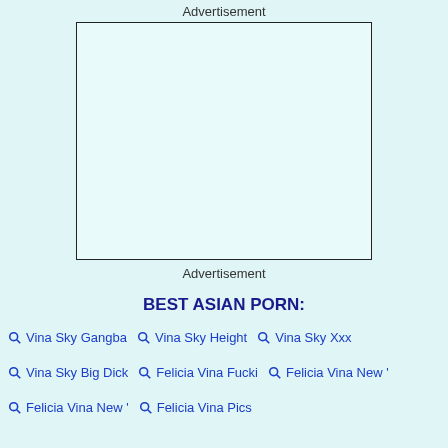Advertisement
[Figure (other): Empty advertisement box with border on light cyan background]
Advertisement
BEST ASIAN PORN:
Vina Sky Gangba
Vina Sky Height
Vina Sky Xxx
Vina Sky Big Dick
Felicia Vina Fucki
Felicia Vina New '
Felicia Vina New '
Felicia Vina Pics